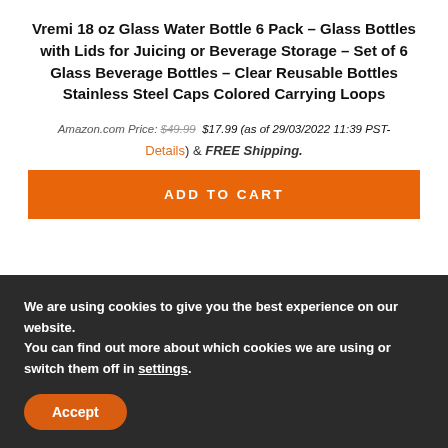Vremi 18 oz Glass Water Bottle 6 Pack – Glass Bottles with Lids for Juicing or Beverage Storage – Set of 6 Glass Beverage Bottles – Clear Reusable Bottles Stainless Steel Caps Colored Carrying Loops
Amazon.com Price: $49.99 $17.99 (as of 29/03/2022 11:39 PST-
Details) & FREE Shipping.
ADD TO CART
We are using cookies to give you the best experience on our website.
You can find out more about which cookies we are using or switch them off in settings.
Accept